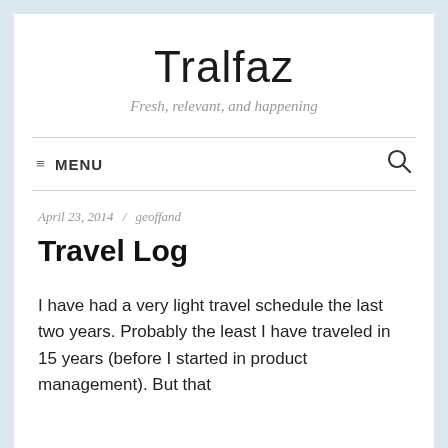Tralfaz
Fresh, relevant, and happening
≡ MENU
April 23, 2014 / geoffand
Travel Log
I have had a very light travel schedule the last two years. Probably the least I have traveled in 15 years (before I started in product management). But that